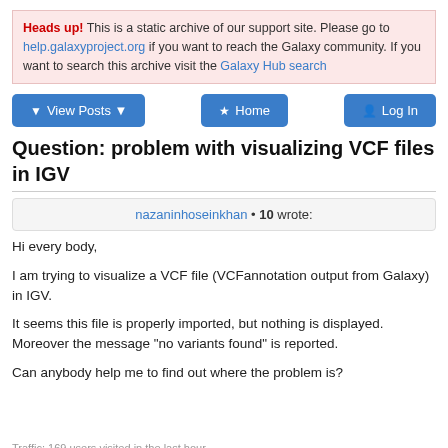Heads up! This is a static archive of our support site. Please go to help.galaxyproject.org if you want to reach the Galaxy community. If you want to search this archive visit the Galaxy Hub search
View Posts | Home | Log In
Question: problem with visualizing VCF files in IGV
nazaninhoseinkhan • 10 wrote:
Hi every body,
I am trying to visualize a VCF file (VCFannotation output from Galaxy) in IGV.
It seems this file is properly imported, but nothing is displayed. Moreover the message "no variants found" is reported.
Can anybody help me to find out where the problem is?
Traffic: 169 users visited in the last hour